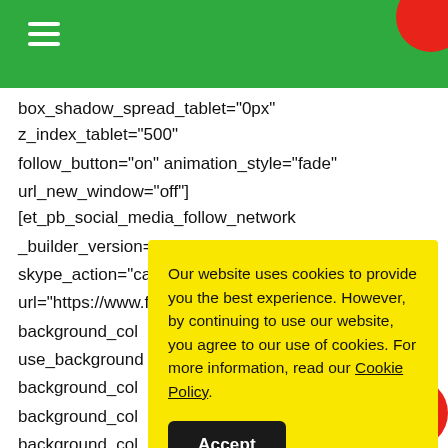☰
box_shadow_spread_tablet="0px" z_index_tablet="500"
follow_button="on" animation_style="fade"
url_new_window="off"][et_pb_social_media_follow_network
_builder_version="3.26.1" social_network="facebook"
skype_action="call"
url="https://www.facebook.com/CiAffairage"
background_col
use_background
background_col
background_col
background_col
background_col
background_col
background_col
background_color_gradient_direction_radial="center"
Our website uses cookies to provide you the best experience. However, by continuing to use our website, you agree to our use of cookies. For more information, read our Cookie Policy.
Accept